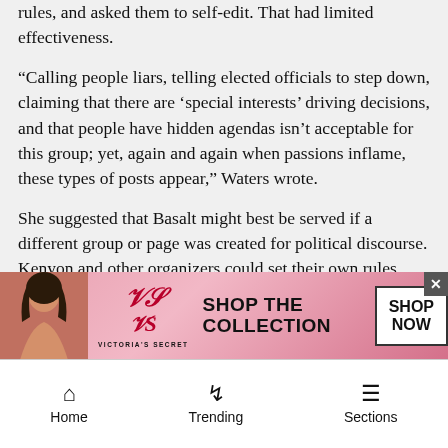rules, and asked them to self-edit. That had limited effectiveness.
“Calling people liars, telling elected officials to step down, claiming that there are ‘special interests’ driving decisions, and that people have hidden agendas isn’t acceptable for this group; yet, again and again when passions inflame, these types of posts appear,” Waters wrote.
She suggested that Basalt might best be served if a different group or page was created for political discourse. Kenyon and other organizers could set their own rules.
scondon@aspentimes.com
[Figure (advertisement): Victoria's Secret advertisement banner with model, logo, and 'SHOP THE COLLECTION SHOP NOW' text]
Home   Trending   Sections